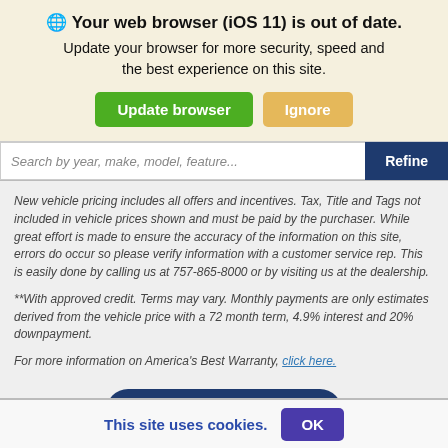Your web browser (iOS 11) is out of date. Update your browser for more security, speed and the best experience on this site.
Update browser
Ignore
Search by year, make, model, feature...
Refine
New vehicle pricing includes all offers and incentives. Tax, Title and Tags not included in vehicle prices shown and must be paid by the purchaser. While great effort is made to ensure the accuracy of the information on this site, errors do occur so please verify information with a customer service rep. This is easily done by calling us at 757-865-8000 or by visiting us at the dealership.
**With approved credit. Terms may vary. Monthly payments are only estimates derived from the vehicle price with a 72 month term, 4.9% interest and 20% downpayment.
For more information on America's Best Warranty, click here.
10 Second Trade Value
This site uses cookies.
OK